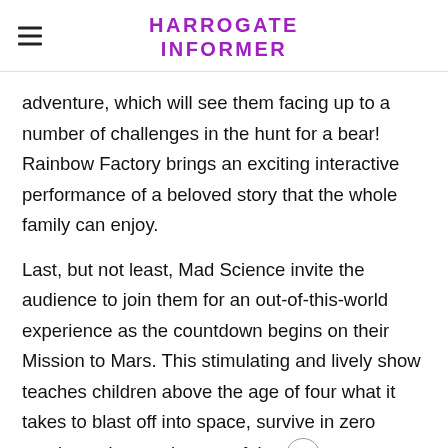HARROGATE INFORMER
adventure, which will see them facing up to a number of challenges in the hunt for a bear! Rainbow Factory brings an exciting interactive performance of a beloved story that the whole family can enjoy.
Last, but not least, Mad Science invite the audience to join them for an out-of-this-world experience as the countdown begins on their Mission to Mars. This stimulating and lively show teaches children above the age of four what it takes to blast off into space, survive in zero gravity and return home safely.